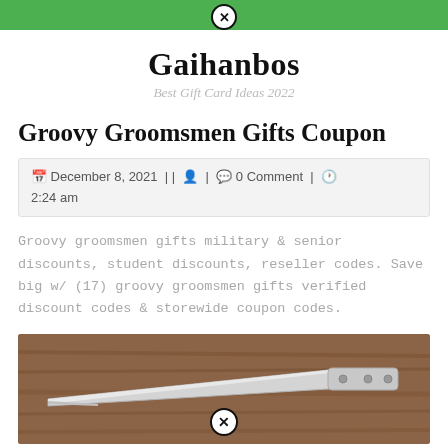Gaihanbos — Best Gift Card Ideas 2022
Groovy Groomsmen Gifts Coupon
December 8, 2021 || [user icon] | [comment icon] 0 Comment | [clock icon] 2:24 am
Groovy groomsmen gifts military & senior discounts, student discounts, reseller codes. Save big w/ (17) groovy groomsmen gifts verified discount codes & storewide coupon codes.
[Figure (photo): Close-up photo of a silver folding knife blade resting on a wooden surface]